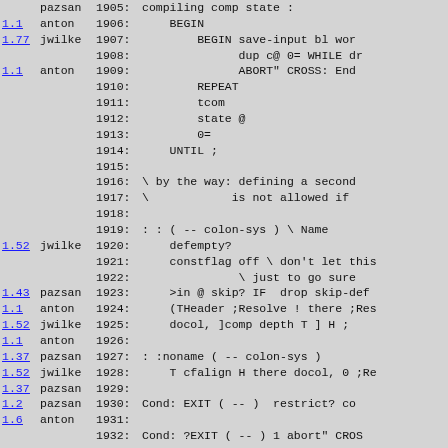| version | author | line | code |
| --- | --- | --- | --- |
| 1.1 | anton | 1906: | BEGIN |
| 1.77 | jwilke | 1907: | BEGIN save-input bl wor |
|  |  | 1908: | dup c@ 0= WHILE dr |
| 1.1 | anton | 1909: | ABORT" CROSS: End |
|  |  | 1910: | REPEAT |
|  |  | 1911: | tcom |
|  |  | 1912: | state @ |
|  |  | 1913: | 0= |
|  |  | 1914: | UNTIL ; |
|  |  | 1915: |  |
|  |  | 1916: | \ by the way: defining a second |
|  |  | 1917: | \ is not allowed if |
|  |  | 1918: |  |
|  |  | 1919: | : : ( -- colon-sys ) \ Name |
| 1.52 | jwilke | 1920: | defempty? |
|  |  | 1921: | constflag off \ don't let this |
|  |  | 1922: | \ just to go sure |
| 1.43 | pazsan | 1923: | >in @ skip? IF  drop skip-def |
| 1.1 | anton | 1924: | (THeader ;Resolve ! there ;Res |
| 1.52 | jwilke | 1925: | docol, ]comp depth T ] H ; |
| 1.1 | anton | 1926: |  |
| 1.37 | pazsan | 1927: | : :noname ( -- colon-sys ) |
| 1.52 | jwilke | 1928: | T cfalign H there docol, 0 ;Re |
| 1.37 | pazsan | 1929: |  |
| 1.2 | pazsan | 1930: | Cond: EXIT ( -- )  restrict? co |
| 1.6 | anton | 1931: |  |
|  |  | 1932: | Cond: ?EXIT ( -- ) 1 abort" CROS |
| 1.2 | pazsan | 1933: |  |
| 1.52 | jwilke | 1934: | >CROSS |
|  |  | 1935: | : LastXT ;Resolve @ 0= abort" CR |